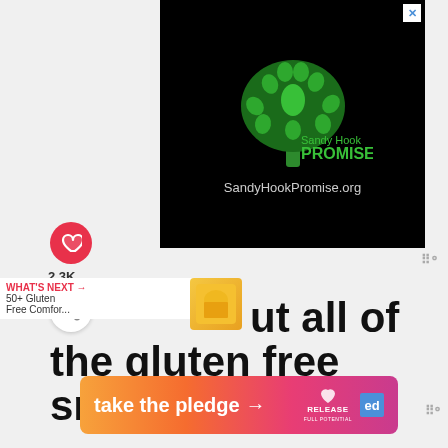[Figure (logo): Sandy Hook Promise advertisement banner with black background, green tree logo made of hands, text 'Sandy Hook PROMISE' and 'SandyHookPromise.org']
[Figure (other): Heart/like button (red circle with white heart icon)]
2.3K
[Figure (other): Share button (white circle with share icon)]
WHAT'S NEXT → 50+ Gluten Free Comfor...
...ut all of the gluten free snacks...
[Figure (infographic): Take the pledge banner with orange-pink gradient, white text 'take the pledge →', Release logo with heart, and ed logo]